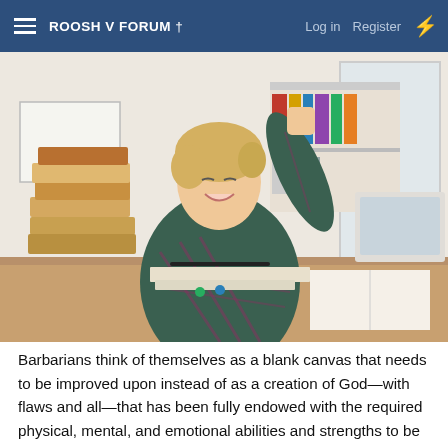ROOSH V FORUM † Log in Register
[Figure (photo): A young woman with short blonde hair, wearing a plaid shirt, sitting at a desk covered with stacked books, papers, and markers. She is smiling and raising one fist in the air in a celebratory gesture. An open book and a computer monitor are visible in the background, along with a bookshelf.]
Barbarians think of themselves as a blank canvas that needs to be improved upon instead of as a creation of God—with flaws and all—that has been fully endowed with the required physical, mental, and emotional abilities and strengths to be saved. Many